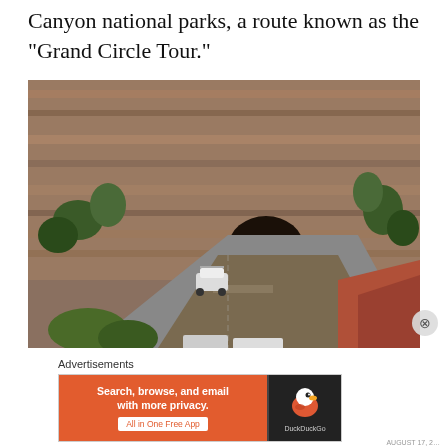Canyon national parks, a route known as the "Grand Circle Tour."
[Figure (photo): A white SUV/van driving on a road bridge approaching a tunnel carved into red sandstone canyon walls, with green trees and red rock formations visible. Zion National Park tunnel entrance.]
Advertisements
[Figure (other): DuckDuckGo advertisement banner: 'Search, browse, and email with more privacy. All in One Free App' with DuckDuckGo duck logo on dark right panel.]